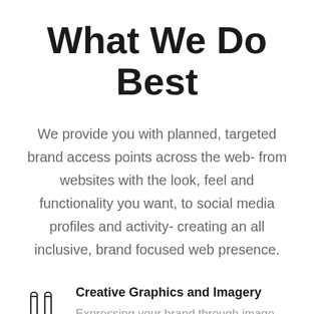What We Do Best
We provide you with planned, targeted brand access points across the web- from websites with the look, feel and functionality you want, to social media profiles and activity- creating an all inclusive, brand focused web presence.
Creative Graphics and Imagery — Expressing your brand through image selection, bespoke graphic design and